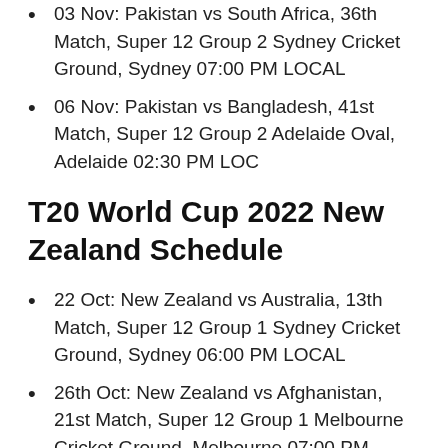03 Nov: Pakistan vs South Africa, 36th Match, Super 12 Group 2 Sydney Cricket Ground, Sydney 07:00 PM LOCAL
06 Nov: Pakistan vs Bangladesh, 41st Match, Super 12 Group 2 Adelaide Oval, Adelaide 02:30 PM LOC
T20 World Cup 2022 New Zealand Schedule
22 Oct: New Zealand vs Australia, 13th Match, Super 12 Group 1 Sydney Cricket Ground, Sydney 06:00 PM LOCAL
26th Oct: New Zealand vs Afghanistan, 21st Match, Super 12 Group 1 Melbourne Cricket Ground, Melbourne 07:00 PM LOCAL
29 Oct: New Zealand vs ..., 27th Match, ...